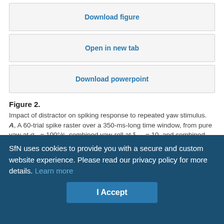Download figure
Open in new tab
Download powerpoint
Figure 2. Impact of distractor on spiking response to repeated yaw stimulus. A, A 60-trial spike raster over a 350-ms-long time window, from pure yaw at σ_Y = 100°/s, combined yaw-roll at ξ_YR = 10, and combined yaw-pitch at ξ_p = 3. B, PSTH (2 ms bins) shows response averaged over 200 trials. C, Gaussian fits to isolated peaks in PSTH to determine spiking precision are shown for the three cases. The stimuli corresponding to these responses are shown in segment 1 and segment 2 of Figure 1, C and D. An example of change in local firing rate from 0.1 spikes/s representing a yaw-suppressed state to 13
SfN uses cookies to provide you with a secure and custom website experience. Please read our privacy policy for more details. Learn more
I Accept